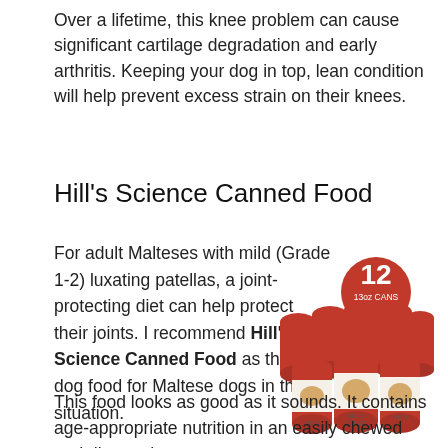Over a lifetime, this knee problem can cause significant cartilage degradation and early arthritis. Keeping your dog in top, lean condition will help prevent excess strain on their knees.
Hill's Science Canned Food
For adult Malteses with mild (Grade 1-2) luxating patellas, a joint-protecting diet can help protect their joints. I recommend Hill's Science Canned Food as the best dog food for Maltese dogs in this situation.
[Figure (photo): Product photo of Hill's Science Diet canned dog food, 12 cans of 13oz, with a red circle badge showing '12 13oz CANS']
This food looks as good as it sounds. It contains age-appropriate nutrition in an easily chewed and digested